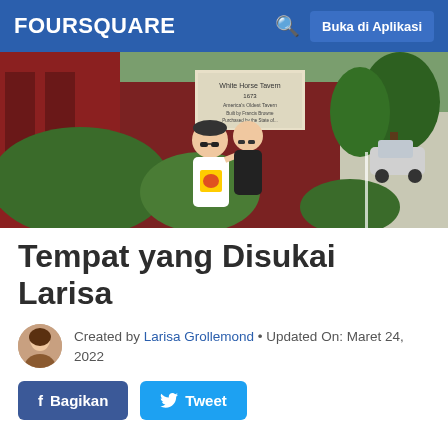FOURSQUARE — Buka di Aplikasi
[Figure (photo): Two people (a man and a woman) standing in front of a red building with a historical marker sign reading 'White Horse Tavern 1673'. Green bushes surround them. A road and trees are visible in the background.]
Tempat yang Disukai Larisa
Created by Larisa Grollemond • Updated On: Maret 24, 2022
Bagikan  Tweet